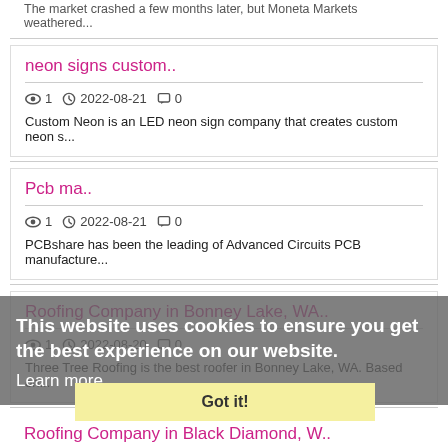The market crashed a few months later, but Moneta Markets weathered...
neon signs custom..
👁 1  🕐 2022-08-21  💬 0
Custom Neon is an LED neon sign company that creates custom neon s...
Pcb ma..
👁 1  🕐 2022-08-21  💬 0
PCBshare has been the leading of Advanced Circuits PCB manufacture...
Roofing Company in Bonney Lake, WA..
👁 1  🕐 2022-08-20  💬 0
Three Tree Roofing is the best roofer in Bonney Lake, WA. Based on...
Roofing Company in Black Diamond, W..
This website uses cookies to ensure you get the best experience on our website.
Learn more
Got it!